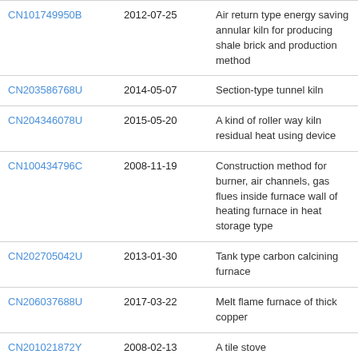| CN101749950B | 2012-07-25 | Air return type energy saving annular kiln for producing shale brick and production method |
| CN203586768U | 2014-05-07 | Section-type tunnel kiln |
| CN204346078U | 2015-05-20 | A kind of roller way kiln residual heat using device |
| CN100434796C | 2008-11-19 | Construction method for burner, air channels, gas flues inside furnace wall of heating furnace in heat storage type |
| CN202705042U | 2013-01-30 | Tank type carbon calcining furnace |
| CN206037688U | 2017-03-22 | Melt flame furnace of thick copper |
| CN201021872Y | 2008-02-13 | A tile stove |
| CN101338978B | 2011-01-12 | Roller kiln residual heat utilization process |